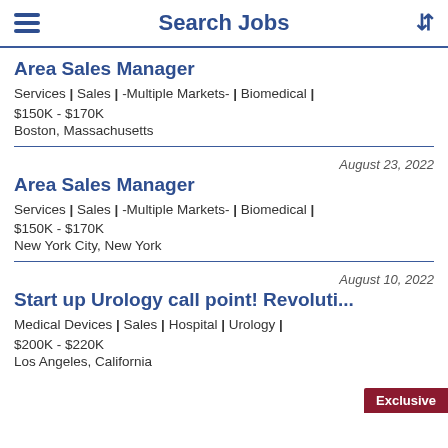Search Jobs
(partial listing above)
Area Sales Manager | Services | Sales | -Multiple Markets- | Biomedical | $150K - $170K | Boston, Massachusetts
August 23, 2022 | Area Sales Manager | Services | Sales | -Multiple Markets- | Biomedical | $150K - $170K | New York City, New York
August 10, 2022 | Start up Urology call point! Revoluti... | Medical Devices | Sales | Hospital | Urology | $200K - $220K | Los Angeles, California | Exclusive